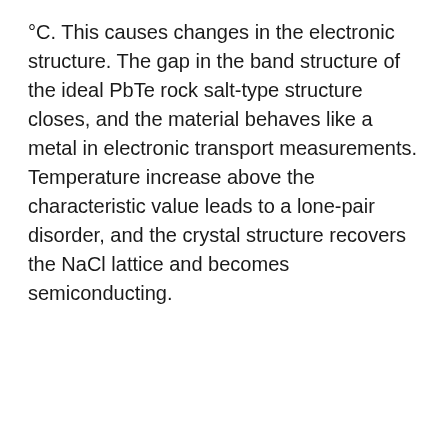°C. This causes changes in the electronic structure. The gap in the band structure of the ideal PbTe rock salt-type structure closes, and the material behaves like a metal in electronic transport measurements. Temperature increase above the characteristic value leads to a lone-pair disorder, and the crystal structure recovers the NaCl lattice and becomes semiconducting.